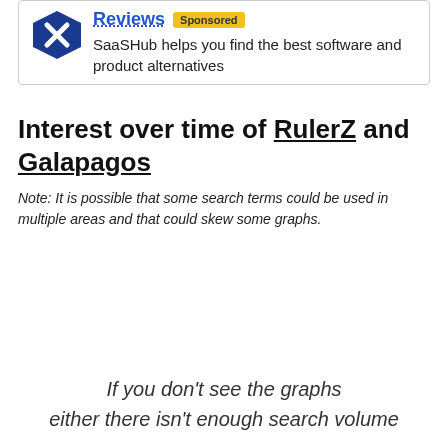[Figure (logo): SaaSHub Reviews sponsored box with blue shield logo, 'Reviews' heading in blue, 'Sponsored' yellow badge, and description text]
SaaSHub helps you find the best software and product alternatives
Interest over time of RulerZ and Galapagos
Note: It is possible that some search terms could be used in multiple areas and that could skew some graphs.
If you don't see the graphs either there isn't enough search volume